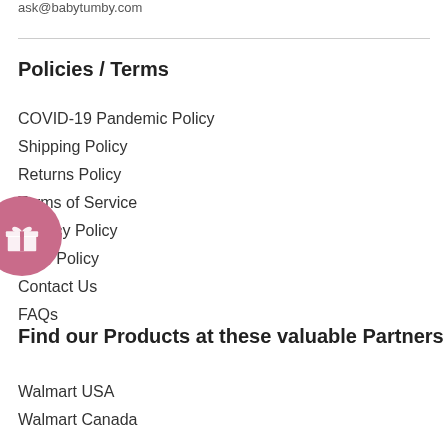ask@babytumby.com
Policies / Terms
COVID-19 Pandemic Policy
Shipping Policy
Returns Policy
Terms of Service
Privacy Policy
EEO Policy
Contact Us
FAQs
Find our Products at these valuable Partners
Walmart USA
Walmart Canada